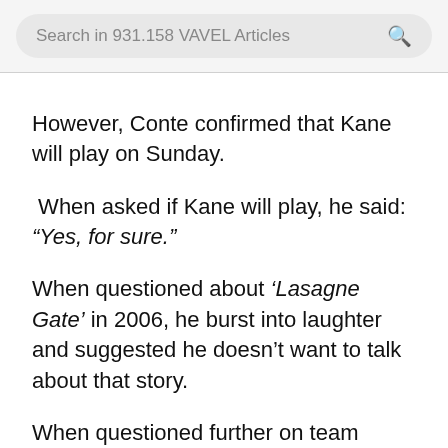Search in 931.158 VAVEL Articles
However, Conte confirmed that Kane will play on Sunday.
When asked if Kane will play, he said: “Yes, for sure.”
When questioned about ‘Lasagne Gate’ in 2006, he burst into laughter and suggested he doesn’t want to talk about that story.
When questioned further on team selection, Conte has said that he has the same team to